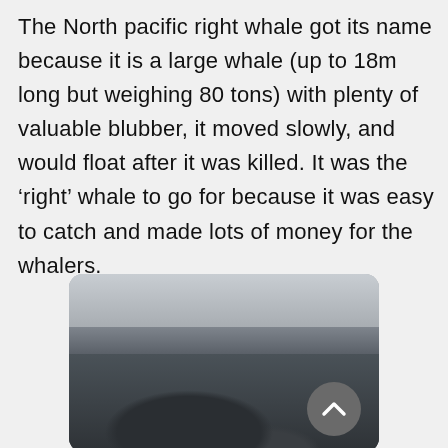The North pacific right whale got its name because it is a large whale (up to 18m long but weighing 80 tons) with plenty of valuable blubber, it moved slowly, and would float after it was killed. It was the ‘right’ whale to go for because it was easy to catch and made lots of money for the whalers.
[Figure (photo): Close-up photo of a North Pacific right whale at the water surface, showing the whale's dark head and body with water around it, gray ocean/sky in background.]